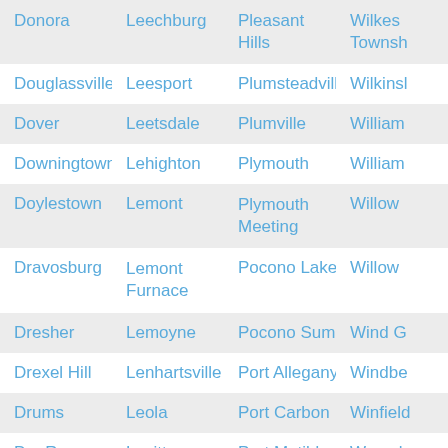| Donora | Leechburg | Pleasant Hills | Wilkes Township |
| Douglassville | Leesport | Plumsteadville | Wilkinsburg |
| Dover | Leetsdale | Plumville | Williamsburg |
| Downingtown | Lehighton | Plymouth | Williamstown |
| Doylestown | Lemont | Plymouth Meeting | Willow Grove |
| Dravosburg | Lemont Furnace | Pocono Lake | Willow Street |
| Dresher | Lemoyne | Pocono Summit | Wind Gap |
| Drexel Hill | Lenhartsville | Port Allegany | Windber |
| Drums | Leola | Port Carbon | Winfield |
| Dry Run | Levittown | Port Matilda | Womelsdorf |
| Du Bois | Lewisberry | Portage | Woodbury |